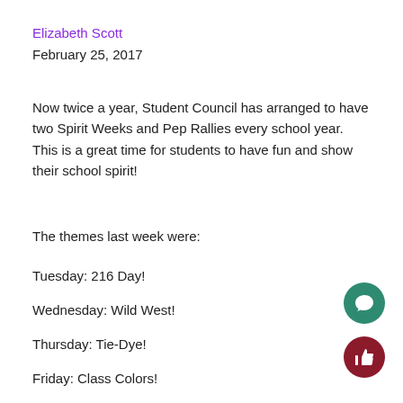Elizabeth Scott
February 25, 2017
Now twice a year, Student Council has arranged to have two Spirit Weeks and Pep Rallies every school year. This is a great time for students to have fun and show their school spirit!
The themes last week were:
Tuesday: 216 Day!
Wednesday: Wild West!
Thursday: Tie-Dye!
Friday: Class Colors!
[Figure (illustration): Green circular button with speech bubble / comment icon]
[Figure (illustration): Dark red circular button with thumbs up / like icon]